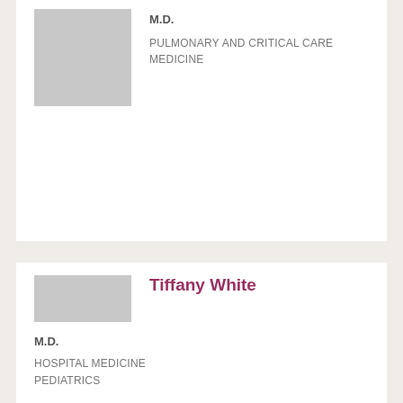[Figure (photo): Gray placeholder photo for first doctor]
M.D.
PULMONARY AND CRITICAL CARE MEDICINE
[Figure (photo): Gray placeholder photo for Tiffany White]
Tiffany White
M.D.
HOSPITAL MEDICINE
PEDIATRICS